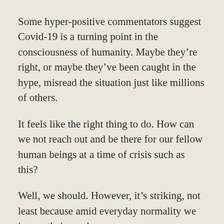Some hyper-positive commentators suggest Covid-19 is a turning point in the consciousness of humanity. Maybe they're right, or maybe they've been caught in the hype, misread the situation just like millions of others.
It feels like the right thing to do. How can we not reach out and be there for our fellow human beings at a time of crisis such as this?
Well, we should. However, it's striking, not least because amid everyday normality we ignore their need.
We walk past people begging for change in the street. Politicians and civil servants underplay the glaring ineptitude of the country's mental health services. The